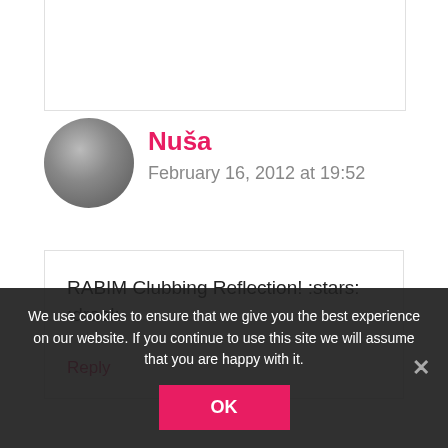[Figure (photo): Partial view of a card/box border at the top of the page]
Nuša
February 16, 2012 at 19:52
RABIM Clubbing Reflection! :stars: :drool:
Reply
We use cookies to ensure that we give you the best experience on our website. If you continue to use this site we will assume that you are happy with it.
OK